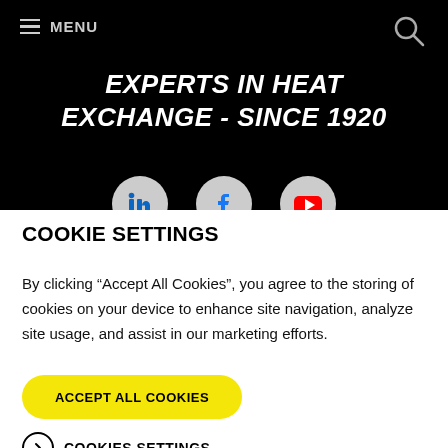MENU
EXPERTS IN HEAT EXCHANGE - SINCE 1920
[Figure (illustration): Three social media icon circles partially visible: LinkedIn (blue), Facebook (blue), YouTube (red) on dark background]
COOKIE SETTINGS
By clicking “Accept All Cookies”, you agree to the storing of cookies on your device to enhance site navigation, analyze site usage, and assist in our marketing efforts.
ACCEPT ALL COOKIES
COOKIES SETTINGS